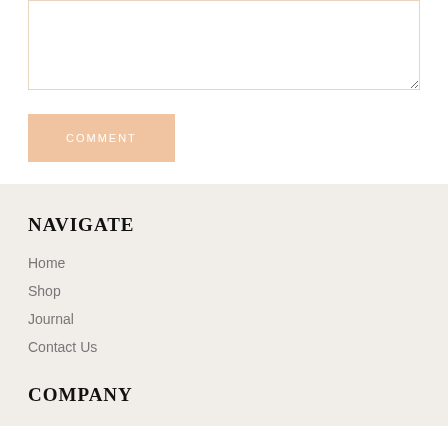[Figure (screenshot): A text input/comment box with a light beige border, resizable, empty content area.]
COMMENT
NAVIGATE
Home
Shop
Journal
Contact Us
COMPANY